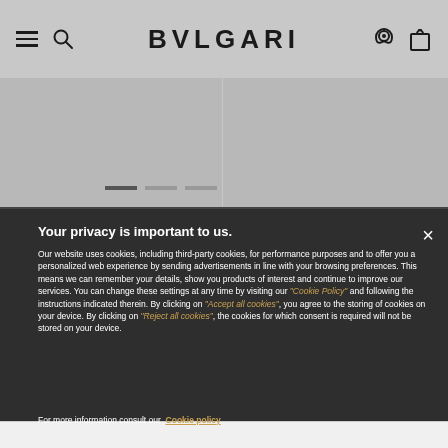BVLGARI
[Figure (screenshot): Gray banner area showing partial product images with carousel navigation dots below]
Your privacy is important to us.
Our website uses cookies, including third-party cookies, for performance purposes and to offer you a personalized web experience by sending advertisements in line with your browsing preferences. This means we can remember your details, show you products of interest and continue to improve our services. You can change these settings at any time by visiting our “Cookie Policy” and following the instructions indicated therein. By clicking on “Accept all cookies”, you agree to the storing of cookies on your device. By clicking on “Reject all cookies”, the cookies for which consent is required will not be stored on your device.
For more information consult our Cookie policy